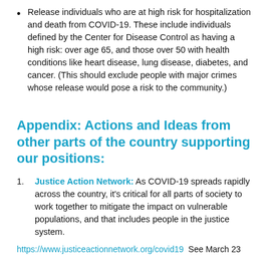Release individuals who are at high risk for hospitalization and death from COVID-19. These include individuals defined by the Center for Disease Control as having a high risk: over age 65, and those over 50 with health conditions like heart disease, lung disease, diabetes, and cancer. (This should exclude people with major crimes whose release would pose a risk to the community.)
Appendix: Actions and Ideas from other parts of the country supporting our positions:
Justice Action Network: As COVID-19 spreads rapidly across the country, it's critical for all parts of society to work together to mitigate the impact on vulnerable populations, and that includes people in the justice system.
https://www.justiceactionnetwork.org/covid19  See March 23